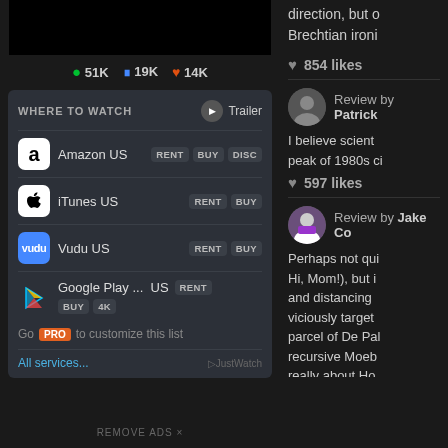[Figure (screenshot): Black bar / movie thumbnail placeholder]
👁 51K  ⊞ 19K  ♥ 14K
WHERE TO WATCH   ▶ Trailer
Amazon US  RENT  BUY  DISC
iTunes US  RENT  BUY
Vudu US  RENT  BUY
Google Play ...  US  RENT  BUY  4K
Go PRO to customize this list
All services...   ▷JustWatch
REMOVE ADS ×
direction, but o Brechtian ironi
♥ 854 likes
Review by Patrick
I believe scient peak of 1980s ci
♥ 597 likes
Review by Jake Co
Perhaps not qui Hi, Mom!), but i and distancing viciously target parcel of De Pal recursive Moeb really about Ho